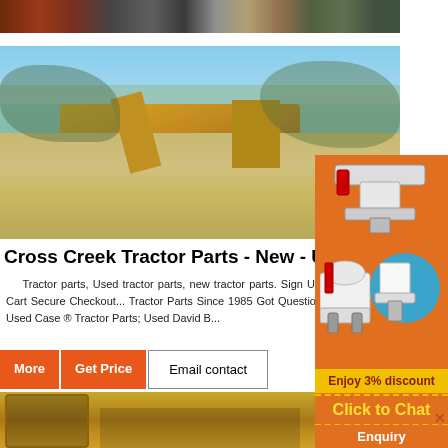[Figure (photo): Top banner photo showing industrial machinery/equipment in a dark setting]
[Figure (photo): Outdoor quarry/mining site with yellow crushing equipment, dust, gravel piles, and trees in background]
Cross Creek Tractor Parts - New - Use...
Tractor parts, Used tractor parts, new tractor parts. Sign Up My Account View Cart Secure Checkout... Tractor Parts Since 1985 Got Questions? Call ... 7335 ... Used Case ® Tractor Parts; Used David B...
[Figure (photo): Bottom photo showing yellow heavy equipment/machinery components]
[Figure (illustration): Orange side panel with images of crushing/mining machines, a blue circle badge, discount banner saying Enjoy 3% discount, Click to Chat button, and Enquiry link]